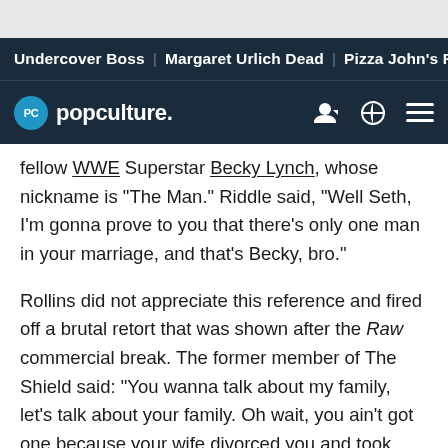Undercover Boss | Margaret Urlich Dead | Pizza John's Reca
PC popculture.
fellow WWE Superstar Becky Lynch, whose nickname is "The Man." Riddle said, "Well Seth, I'm gonna prove to you that there's only one man in your marriage, and that's Becky, bro."
Rollins did not appreciate this reference and fired off a brutal retort that was shown after the Raw commercial break. The former member of The Shield said: "You wanna talk about my family, let's talk about your family. Oh wait, you ain't got one because your wife divorced you and took your kids, and they don't want to see your bitch-ass